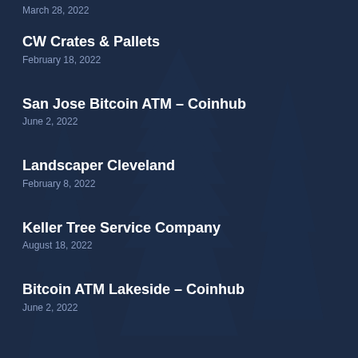March 28, 2022
CW Crates & Pallets
February 18, 2022
San Jose Bitcoin ATM – Coinhub
June 2, 2022
Landscaper Cleveland
February 8, 2022
Keller Tree Service Company
August 18, 2022
Bitcoin ATM Lakeside – Coinhub
June 2, 2022